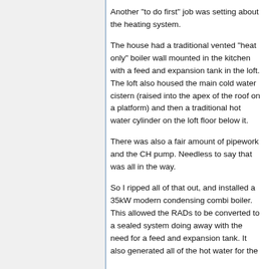Another "to do first" job was setting about the heating system.
The house had a traditional vented "heat only" boiler wall mounted in the kitchen with a feed and expansion tank in the loft. The loft also housed the main cold water cistern (raised into the apex of the roof on a platform) and then a traditional hot water cylinder on the loft floor below it.
There was also a fair amount of pipework and the CH pump. Needless to say that was all in the way.
So I ripped all of that out, and installed a 35kW modern condensing combi boiler. This allowed the RADs to be converted to a sealed system doing away with the need for a feed and expansion tank. It also generated all of the hot water for the